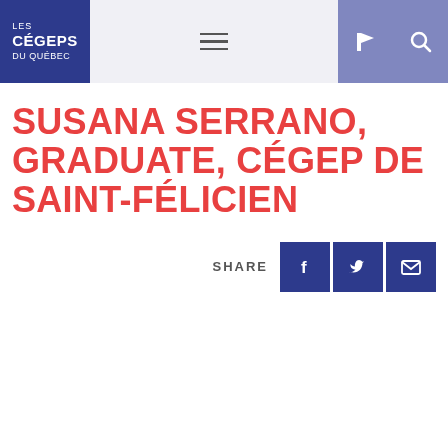Les Cégeps du Québec — navigation header with logo, hamburger menu, flag icon, search icon
SUSANA SERRANO, GRADUATE, CÉGEP DE SAINT-FÉLICIEN
SHARE